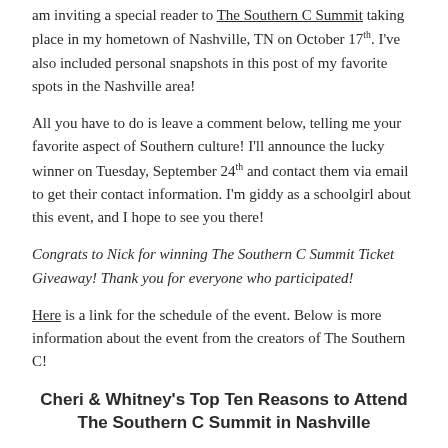am inviting a special reader to The Southern C Summit taking place in my hometown of Nashville, TN on October 17th. I've also included personal snapshots in this post of my favorite spots in the Nashville area!
All you have to do is leave a comment below, telling me your favorite aspect of Southern culture! I'll announce the lucky winner on Tuesday, September 24th and contact them via email to get their contact information. I'm giddy as a schoolgirl about this event, and I hope to see you there!
Congrats to Nick for winning The Southern C Summit Ticket Giveaway! Thank you for everyone who participated!
Here is a link for the schedule of the event. Below is more information about the event from the creators of The Southern C!
Cheri & Whitney's Top Ten Reasons to Attend The Southern C Summit in Nashville